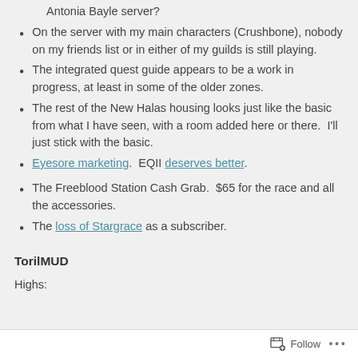Antonia Bayle server?
On the server with my main characters (Crushbone), nobody on my friends list or in either of my guilds is still playing.
The integrated quest guide appears to be a work in progress, at least in some of the older zones.
The rest of the New Halas housing looks just like the basic from what I have seen, with a room added here or there.  I'll just stick with the basic.
Eyesore marketing.  EQII deserves better.
The Freeblood Station Cash Grab.  $65 for the race and all the accessories.
The loss of Stargrace as a subscriber.
TorilMUD
Highs:
Follow  ...